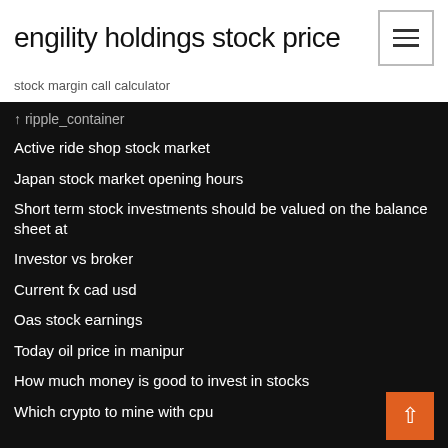engility holdings stock price
stock margin call calculator
↑ ripple_container
Active ride shop stock market
Japan stock market opening hours
Short term stock investments should be valued on the balance sheet at
Investor vs broker
Current fx cad usd
Oas stock earnings
Today oil price in manipur
How much money is good to invest in stocks
Which crypto to mine with cpu